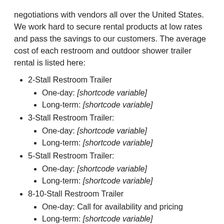negotiations with vendors all over the United States. We work hard to secure rental products at low rates and pass the savings to our customers. The average cost of each restroom and outdoor shower trailer rental is listed here:
2-Stall Restroom Trailer
One-day: [shortcode variable]
Long-term: [shortcode variable]
3-Stall Restroom Trailer:
One-day: [shortcode variable]
Long-term: [shortcode variable]
5-Stall Restroom Trailer:
One-day: [shortcode variable]
Long-term: [shortcode variable]
8-10-Stall Restroom Trailer
One-day: Call for availability and pricing
Long-term: [shortcode variable]
2-, 3-, or 5-Stall Shower Trailer: Call for availability and Pricing